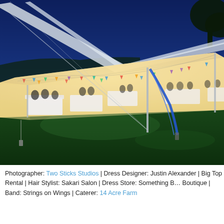[Figure (photo): Outdoor wedding reception tent at dusk/night. A large white sailcloth tent is illuminated from within, showing guests seated at tables with white tablecloths. Colorful bunting/pennant flags hang inside the tent. The exterior shows green grass, tent poles, and blue guide ropes. The sky is deep blue (twilight). Trees are visible in the upper right.]
Photographer: Two Sticks Studios | Dress Designer: Justin Alexander | Big Top Rental | Hair Stylist: Sakari Salon | Dress Store: Something Boutique | Band: Strings on Wings | Caterer: 14 Acre Farm